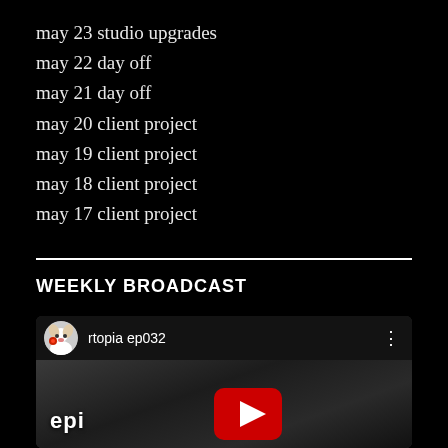may 23 studio upgrades
may 22 day off
may 21 day off
may 20 client project
may 19 client project
may 18 client project
may 17 client project
WEEKLY BROADCAST
[Figure (screenshot): YouTube video thumbnail for 'rtopia ep032' showing a dog avatar icon, episode title text, three-dot menu, a dark textured background, and a YouTube play button with 'epi' text visible at the bottom left.]